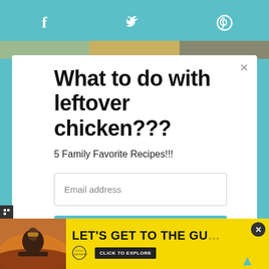Social share icons: Facebook, Twitter, Pinterest
What to do with leftover chicken???
5 Family Favorite Recipes!!!
Email address
Subscribe
[Figure (photo): Advertisement banner with woman in sunglasses and St. Pete Clearwater tourism ad with text LET'S GET TO THE GU... and CLICK TO EXPLORE button]